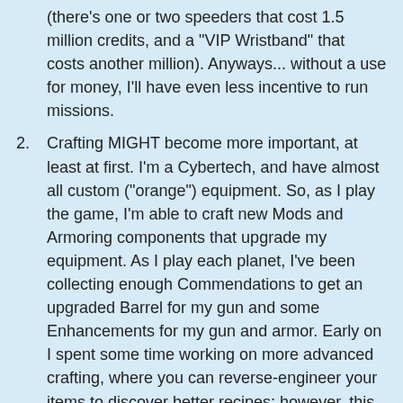(there's one or two speeders that cost 1.5 million credits, and a "VIP Wristband" that costs another million). Anyways... without a use for money, I'll have even less incentive to run missions.
2. Crafting MIGHT become more important, at least at first. I'm a Cybertech, and have almost all custom ("orange") equipment. So, as I play the game, I'm able to craft new Mods and Armoring components that upgrade my equipment. As I play each planet, I've been collecting enough Commendations to get an upgraded Barrel for my gun and some Enhancements for my gun and armor. Early on I spent some time working on more advanced crafting, where you can reverse-engineer your items to discover better recipes; however, this really wasn't worthwhile, at least for me, since they're expensive to make (they require Underworld Metals, plus the regular mods you waste while trying to make a new version), and in a few levels, they'll be less powerful than the basic mods I can easily make at a higher level. But, now that I'm at the top of the game, it may be worth taking the time to craft Prototype ("blue") and Artifact ("purple") versions